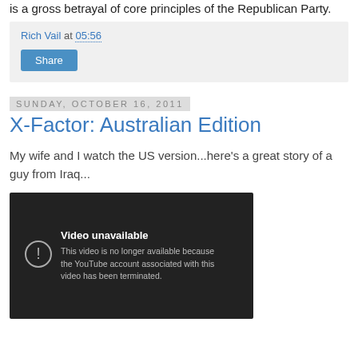is a gross betrayal of core principles of the Republican Party.
Rich Vail at 05:56
Share
Sunday, October 16, 2011
X-Factor: Australian Edition
My wife and I watch the US version...here's a great story of a guy from Iraq...
[Figure (screenshot): Embedded video player showing 'Video unavailable' error. Text reads: 'This video is no longer available because the YouTube account associated with this video has been terminated.']